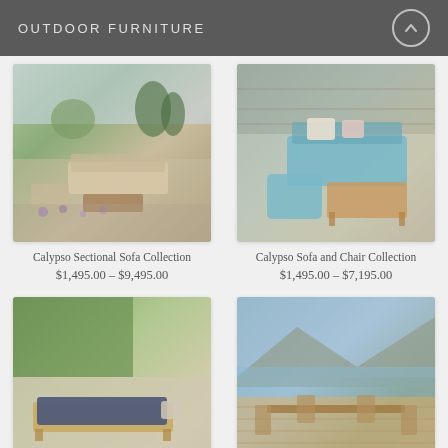OUTDOOR FURNITURE
[Figure (photo): Outdoor sectional sofa with wooden frame and neutral cushions in a garden setting with lavender and trees]
Calypso Sectional Sofa Collection
$1,495.00 – $9,495.00
[Figure (photo): Blue rope outdoor sofa and chair collection with wooden coffee table on gravel patio]
Calypso Sofa and Chair Collection
$1,495.00 – $7,195.00
[Figure (photo): Outdoor lounge chair/chaise with navy cushions on a patio next to grass]
[Figure (photo): Outdoor dining table set on a deck with mountain and sea views]